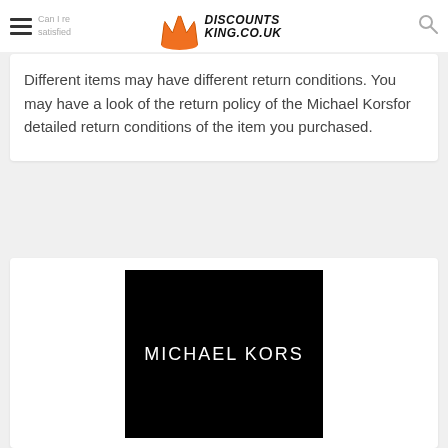Can I return an item if I am not satisfied? — Discounts King
Different items may have different return conditions. You may have a look of the return policy of the Michael Korsfor detailed return conditions of the item you purchased.
[Figure (logo): Michael Kors brand logo — white text 'MICHAEL KORS' on black background]